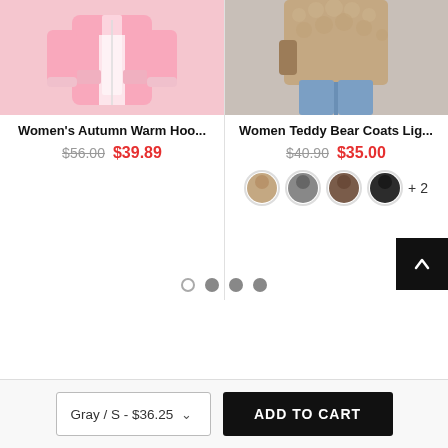[Figure (photo): Women's pink hooded jacket product photo, top portion visible]
Women's Autumn Warm Hoo...
$56.00  $39.89
[Figure (photo): Women Teddy Bear Coat product photo, person wearing beige fluffy coat with jeans and bag]
Women Teddy Bear Coats Lig...
$40.90  $35.00
[Figure (other): Color swatch thumbnails showing 4 color variants of the Teddy Bear Coat plus +2 more indicator]
[Figure (other): Pagination dots: 4 dots, first is empty circle, second and third are filled gray, fourth is filled gray]
Gray / S - $36.25
ADD TO CART